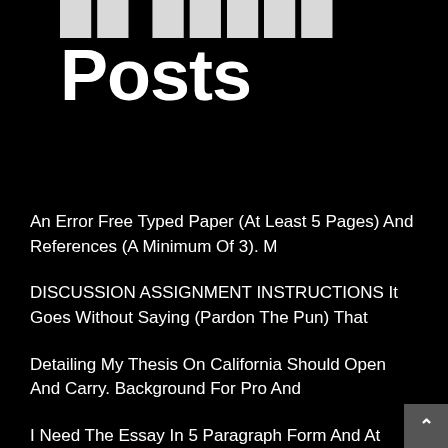Posts
An Error Free Typed Paper (At Least 5 Pages) And References (A Minimum Of 3). M
DISCUSSION ASSIGNMENT INSTRUCTIONS It Goes Without Saying (Pardon The Pun) That
Detailing My Thesis On California Should Open And Carry. Background For Pro And
I Need The Essay In 5 Paragraph Form And At Least 2 Refrences. There’s An Attach
Marketing Objectives Are The Broad-Based Statements On Goals Of An Organization